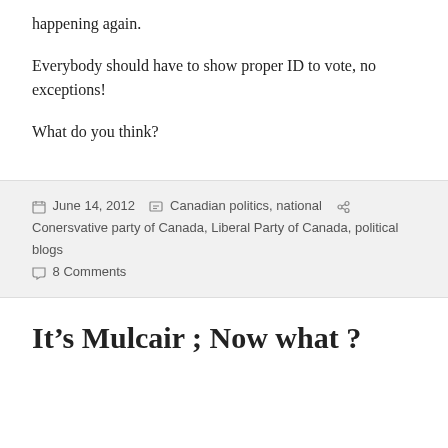happening again.
Everybody should have to show proper ID to vote, no exceptions!
What do you think?
June 14, 2012   Canadian politics, national   Conersvative party of Canada, Liberal Party of Canada, political blogs   8 Comments
It’s Mulcair ; Now what ?